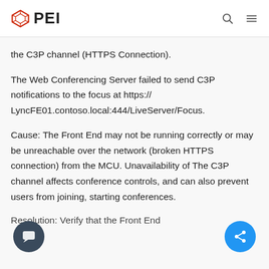PEI
the C3P channel (HTTPS Connection).
The Web Conferencing Server failed to send C3P notifications to the focus at https://LyncFE01.contoso.local:444/LiveServer/Focus.
Cause: The Front End may not be running correctly or may be unreachable over the network (broken HTTPS connection) from the MCU. Unavailability of The C3P channel affects conference controls, and can also prevent users from joining, starting conferences.
Resolution: Verify that the Front End